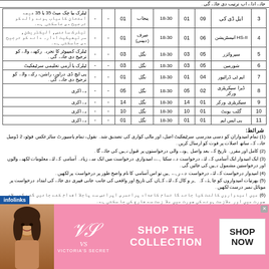| نمبر شمار | عہدہ | کل آسامیاں | ضلع کوٹہ | ضلع | عمر | صنف | فضیلت | اضافی | شرائط |
| --- | --- | --- | --- | --- | --- | --- | --- | --- | --- |
| 3 | ایل ڈی کی | 09 | 01 | 18-30 | پنجاب | 01 | - | - | ٹیلرک بیا چک میٹ 35 یا 35 فیصد امتحان کامیاب ہونے والے کو ترجیح دی جاسکتی ہے۔ |
| 4 | HS-II انیسٹریشن | 06 | 01 | 18-30 | صرف (دیپنی) | 01 | - | - | ٹیلرک سائنس، الیکٹریشن، سرٹیفیکیٹ ادارہ دانے کو ترجیح دی جاسکتی ہے۔ |
| 5 | سپروائزر | 05 | 03 | 18-30 | نگل | 03 | - | - | ٹیلرک کمپیوٹر کا تجربہ رکھنے والے کو ترجیح دی جائے گی۔ |
| 6 | شورمین | 05 | 03 | 18-30 | نگل | 03 | - | - | ٹیلرک یا آرمی تعلیمی سرٹیفکیٹ |
| 7 | ایم ٹی ڈرائیور | 04 | 01 | 18-30 | نگل | 01 | - | - | پی ایچ ڈی دراور، راشن، رکنے والے کو ترجیح دی جانے گی۔ |
| 8 | ڈیرا سیکریٹری ورکر | 02 | 05 | 18-30 | نگل | 05 | - | - | بے اکری |
| 9 | سیکریٹری ورکر | 01 | 14 | 18-30 | نگل | 14 | - | - | بے اکری |
| 10 | گلب یونٹ | 01 | 10 | 18-30 | نگل | 10 | - | - | بے اکری |
| 11 | پی ایس ایم | 01 | 01 | 18-30 | نگل | 01 | - | - | بے اکری |
شرائط:
(1) تمام امیدواران کو دسی مدرسی سرٹیفکیٹ اصل، اور مالی کواری کی تصدیق شدہ نقول، تمام پاسپورٹ سائزعکس فوٹو، 2 ڈومیل خانے کے ساتھ اصلات پر فوت کو ارسال کریں۔
(2) کامل اور مقررہ تاریخ کے بعد واصل ہونے والی درخواستوں پر قبول نہیں کی جائے گا۔
(3) ایک امیدوار ایک آسامی کے لئے درخواست دے سکتا ہے، امیدواری درخواست میں ایک سے زیادہ آسامی کے لئے معلومات لکھنے والوں اور درخواستین مشمول نہیں کی جائیں گی۔
(4) امیدوار درخواست کے لئے درخواست دے رہے ہیں تو اس آسامی کا نام واضح طور پر درخواست پر لکھیں۔
(5) بھرتیات امیدواروں کو چاہئے کہ ہر و کال کے لئے کہاں کی تاریخ اور واقعی کی جانب جانی فیبری دی جائے کی ابتداد درخواست پر موبائل نمبر درست لکھیں۔
(6) میں امیدواروں کالنٹ کیا جائے گا تمام کاغذاد پرائمری اپرائس سے پاجلا اقدام کئے جائیں گئے گھر لائی صورت میں اور ملازمت ہونے کی صورت میں ملا زمت سے فارغ کی جا سکتی ہے۔
[Figure (photo): Victoria's Secret advertisement banner with a woman model, VS logo, 'SHOP THE COLLECTION' text, and 'SHOP NOW' button on pink background]